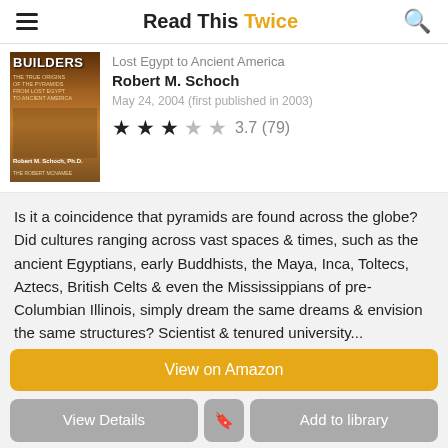Read This Twice
[Figure (photo): Book cover of Pyramid Builders by Robert M. Schoch Ph.D. - The True Origins of the Pyramids from Lost Egypt to Ancient America]
Lost Egypt to Ancient America
Robert M. Schoch
May 24, 2004 (first published in 2003)
3.7 (79)
Is it a coincidence that pyramids are found across the globe? Did cultures ranging across vast spaces & times, such as the ancient Egyptians, early Buddhists, the Maya, Inca, Toltecs, Aztecs, British Celts & even the Mississippians of pre-Columbian Illinois, simply dream the same dreams & envision the same structures? Scientist & tenured university...
View on Amazon
View Details
Add to library